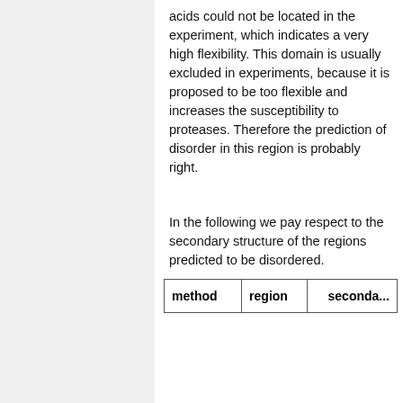acids could not be located in the experiment, which indicates a very high flexibility. This domain is usually excluded in experiments, because it is proposed to be too flexible and increases the susceptibility to proteases. Therefore the prediction of disorder in this region is probably right.
In the following we pay respect to the secondary structure of the regions predicted to be disordered.
| method | region | seconda... |
| --- | --- | --- |